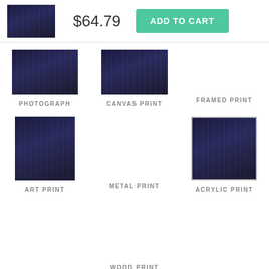[Figure (photo): Basketball game thumbnail image showing player jump shot]
$64.79
ADD TO CART
[Figure (photo): Basketball photograph print thumbnail]
PHOTOGRAPH
[Figure (photo): Basketball canvas print thumbnail]
CANVAS PRINT
FRAMED PRINT
[Figure (photo): Basketball art print thumbnail - taller format]
ART PRINT
METAL PRINT
[Figure (photo): Basketball acrylic print thumbnail with border]
ACRYLIC PRINT
WOOD PRINT